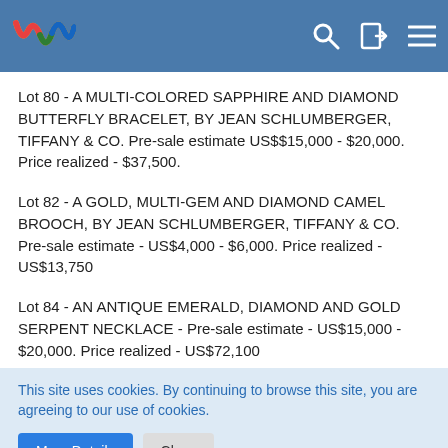WSC website header with logo and navigation icons
Lot 80 - A MULTI-COLORED SAPPHIRE AND DIAMOND BUTTERFLY BRACELET, BY JEAN SCHLUMBERGER, TIFFANY & CO. Pre-sale estimate US$$15,000 - $20,000. Price realized - $37,500.
Lot 82 - A GOLD, MULTI-GEM AND DIAMOND CAMEL BROOCH, BY JEAN SCHLUMBERGER, TIFFANY & CO. Pre-sale estimate - US$4,000 - $6,000. Price realized - US$13,750
Lot 84 - AN ANTIQUE EMERALD, DIAMOND AND GOLD SERPENT NECKLACE - Pre-sale estimate - US$15,000 - $20,000. Price realized - US$72,100
This site uses cookies. By continuing to browse this site, you are agreeing to our use of cookies.
internetstones.com in the WSC-Connect App on the App Store   Download